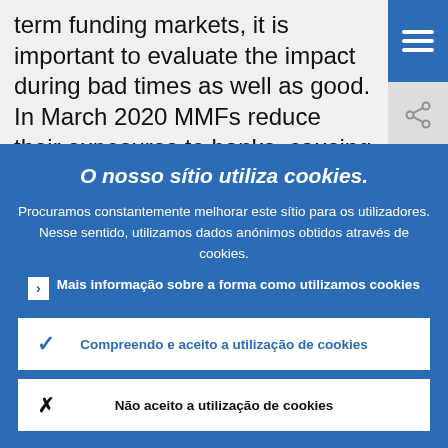term funding markets, it is important to evaluate the impact during bad times as well as good. In March 2020 MMFs reduced their exposures to banks, causing
O nosso sítio utiliza cookies.
Procuramos constantemente melhorar este sítio para os utilizadores. Nesse sentido, utilizamos dados anónimos obtidos através de cookies.
Mais informação sobre a forma como utilizamos cookies
Compreendo e aceito a utilização de cookies
Não aceito a utilização de cookies